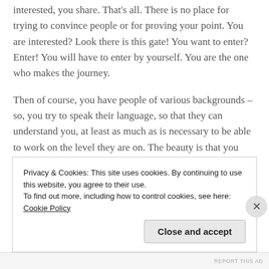interested, you share. That's all. There is no place for trying to convince people or for proving your point. You are interested? Look there is this gate! You want to enter? Enter! You will have to enter by yourself. You are the one who makes the journey.
Then of course, you have people of various backgrounds – so, you try to speak their language, so that they can understand you, at least as much as is necessary to be able to work on the level they are on. The beauty is that you have practices. I have shared certain things with friends who did not speak a common language with me,
Privacy & Cookies: This site uses cookies. By continuing to use this website, you agree to their use.
To find out more, including how to control cookies, see here: Cookie Policy
Close and accept